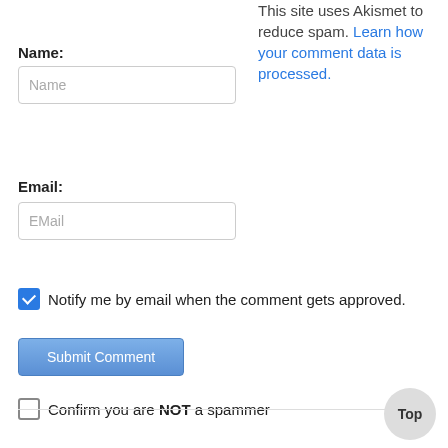This site uses Akismet to reduce spam. Learn how your comment data is processed.
Name:
[Figure (screenshot): Name input field with placeholder text 'Name']
Email:
[Figure (screenshot): Email input field with placeholder text 'EMail']
Notify me by email when the comment gets approved.
[Figure (screenshot): Submit Comment button]
Confirm you are NOT a spammer
Top